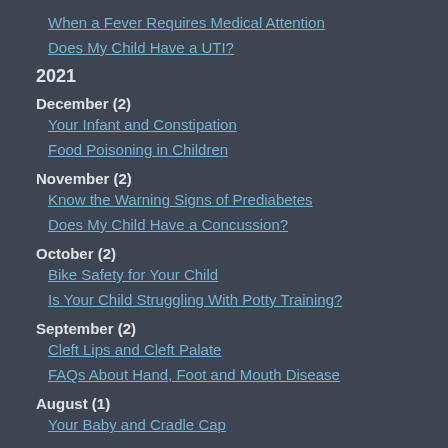When a Fever Requires Medical Attention
Does My Child Have a UTI?
2021
December (2)
Your Infant and Constipation
Food Poisoning in Children
November (2)
Know the Warning Signs of Prediabetes
Does My Child Have a Concussion?
October (2)
Bike Safety for Your Child
Is Your Child Struggling With Potty Training?
September (2)
Cleft Lips and Cleft Palate
FAQs About Hand, Foot and Mouth Disease
August (1)
Your Baby and Cradle Cap
July (2)
Does My Child Need Glasses?